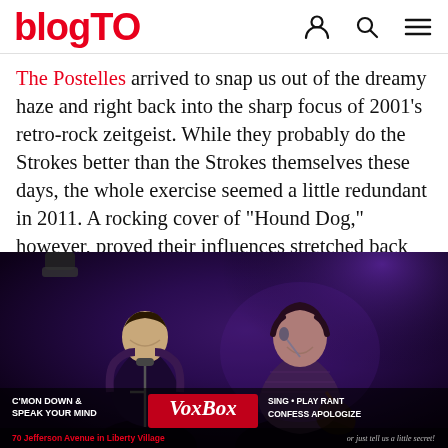blogTO
The Postelles arrived to snap us out of the dreamy haze and right back into the sharp focus of 2001's retro-rock zeitgeist. While they probably do the Strokes better than the Strokes themselves these days, the whole exercise seemed a little redundant in 2011. A rocking cover of "Hound Dog," however, proved their influences stretched back further than immediately apparent.
[Figure (photo): Two male musicians performing on a dimly lit stage with purple lighting. The performer on the right is singing into a microphone. An overlay at the bottom shows a VoxBox advertisement with text 'C'mon down & speak your mind' and '70 Jefferson Avenue in Liberty Village'.]